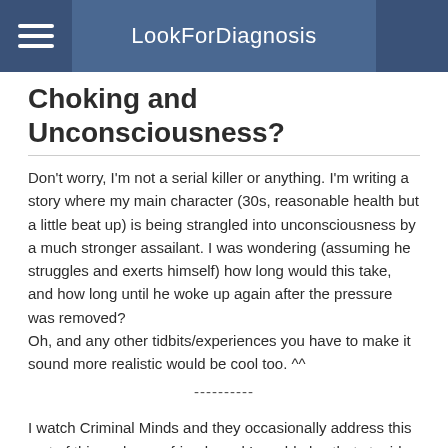LookForDiagnosis
Choking and Unconsciousness?
Don't worry, I'm not a serial killer or anything. I'm writing a story where my main character (30s, reasonable health but a little beat up) is being strangled into unconsciousness by a much stronger assailant. I was wondering (assuming he struggles and exerts himself) how long would this take, and how long until he woke up again after the pressure was removed?
Oh, and any other tidbits/experiences you have to make it sound more realistic would be cool too. ^^
----------
I watch Criminal Minds and they occasionally address this sort of thing, plus my friends and I would play that stupid (and dangerous) game where we'd choke each other until we lost consciousness when we were kids, so here goes: Apparently strangling someone with your bare hands is actually quite difficult and takes a lot of exertion. It can take over a minute of completely blocking the airway to make a person lose consciousness, less time if the victim is using up energy reserves by fighting their assailant. How long until they wake up